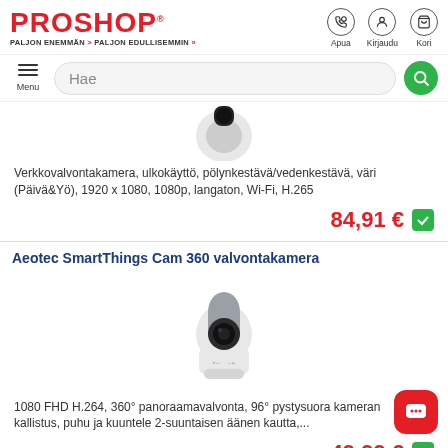PROSHOP PALJON ENEMMÄN > PALJON EDULLISEMMIN >>
Verkkovalvontakamera, ulkokäyttö, pölynkestävä/vedenkestävä, väri (Päivä&Yö), 1920 x 1080, 1080p, langaton, Wi-Fi, H.265
84,91 €
Aeotec SmartThings Cam 360 valvontakamera
[Figure (photo): Aeotec SmartThings Cam 360 surveillance camera, white dome-shaped camera with black lens]
1080 FHD H.264, 360° panoraamavalvonta, 96° pystysuora kameran kallistus, puhu ja kuuntele 2-suuntaisen äänen kautta,...
49,99 €